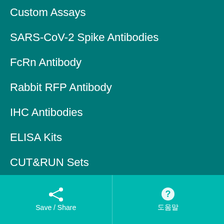Custom Assays
SARS-CoV-2 Spike Antibodies
FcRn Antibody
Rabbit RFP Antibody
IHC Antibodies
ELISA Kits
CUT&RUN Sets
Human Platelet Lysate (hPL)
Payment Options
Save / Share   도움말